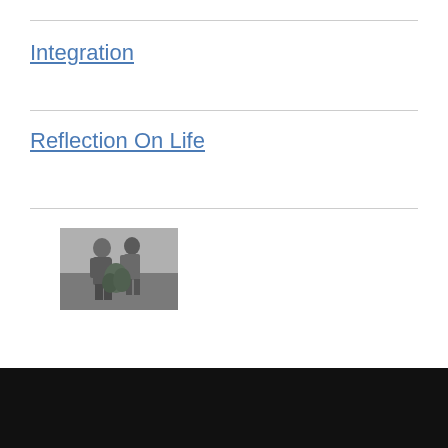Integration
Reflection On Life
[Figure (photo): Black and white vintage photograph of two people standing together, possibly children or young people, in an outdoor or semi-outdoor setting]